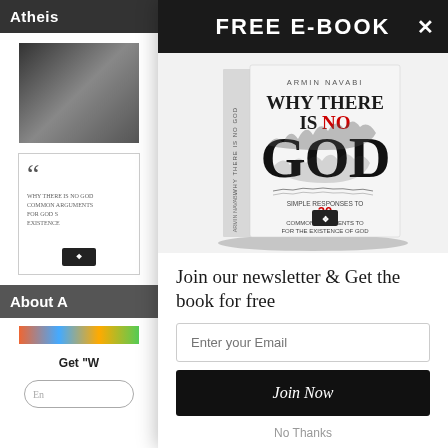Atheist
[Figure (photo): Black and white photo thumbnail in left sidebar]
[Figure (illustration): Quote card thumbnail with quotation marks and logo]
About A
[Figure (illustration): Colorful banner strip]
Get "W
FREE E-BOOK
[Figure (photo): Book cover: Why There Is No God by Armin Navabi. Simple Responses to 20 Common Arguments for the Existence of God.]
Join our newsletter & Get the book for free
Enter your Email
Join Now
No Thanks